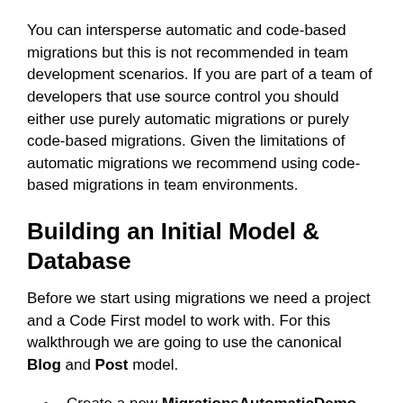You can intersperse automatic and code-based migrations but this is not recommended in team development scenarios. If you are part of a team of developers that use source control you should either use purely automatic migrations or purely code-based migrations. Given the limitations of automatic migrations we recommend using code-based migrations in team environments.
Building an Initial Model & Database
Before we start using migrations we need a project and a Code First model to work with. For this walkthrough we are going to use the canonical Blog and Post model.
Create a new MigrationsAutomaticDemo Console application